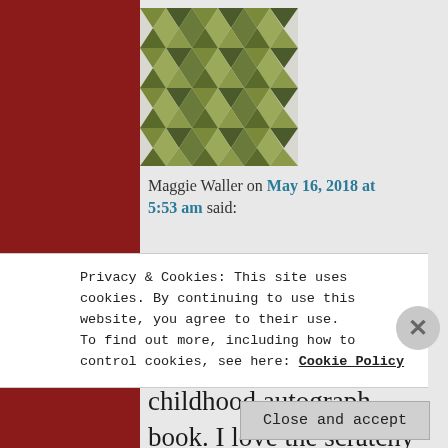[Figure (illustration): Geometric patterned avatar with triangles and diamonds in olive green and dark colors on a light background]
Maggie Waller on May 16, 2018 at 5:53 am said:
Thankyou! This brought back memories of my childhood autograph book. I love the scratchy pen entry! Sone favourites from my
Privacy & Cookies: This site uses cookies. By continuing to use this website, you agree to their use.
To find out more, including how to control cookies, see here: Cookie Policy
Close and accept